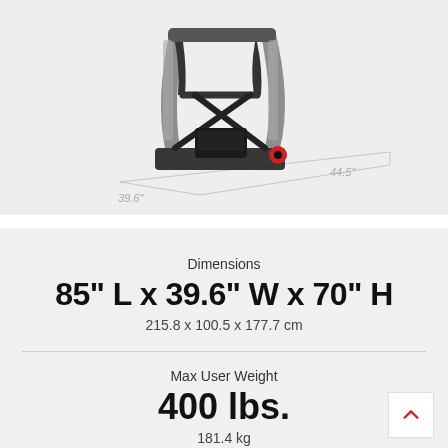[Figure (photo): Fitness stair-climbing machine shown at an angle with dimension lines indicating 39.6 inches width and 44.5 inches depth]
39.6"
44.5"
Dimensions
85" L x 39.6" W x 70" H
215.8 x 100.5 x 177.7 cm
Max User Weight
400 lbs.
181.4 kg